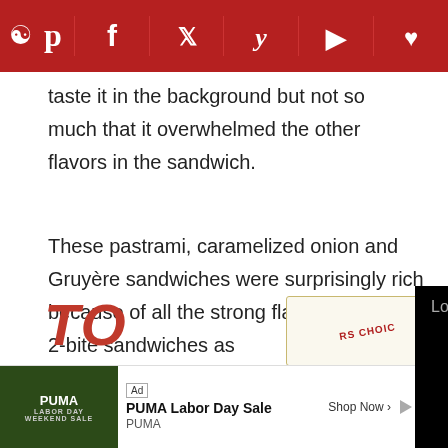[Figure (other): Social media share bar with Pinterest, Facebook, Twitter, Yummly, Flipboard, and heart/save icons on a dark red background]
taste it in the background but not so much that it overwhelmed the other flavors in the sandwich.
These pastrami, caramelized onion and Gruyère sandwiches were surprisingly rich because of all the strong flavors—I thi[nk they would make perfect] 2-bite sandwiches as[...] definitely be making [...] mood for a decaden[t...]
[Figure (other): Video ad overlay showing 'Loading ad' text with a loading spinner and playback controls (pause, fullscreen, mute) on a black background]
[Figure (other): Partial 'TO' text in bold red italic at bottom left, and a Readers Choice badge at bottom right with an X close button]
[Figure (other): Bottom advertisement banner for PUMA Labor Day Sale with ad label, PUMA branding, Shop Now CTA, and play/close controls]